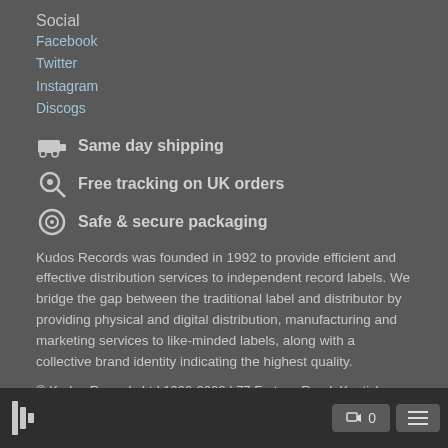Social
Facebook
Twitter
Instagram
Discogs
Same day shipping
Free tracking on UK orders
Safe & secure packaging
Kudos Records was founded in 1992 to provide efficient and effective distribution services to independent record labels. We bridge the gap between the traditional label and distributor by providing physical and digital distribution, manufacturing and marketing services to like-minded labels, along with a collective brand identity indicating the highest quality.
© Kudos Records Ltd 1992-2022 | 77 Fortess Road, Kentish Town, London NW5 1AG